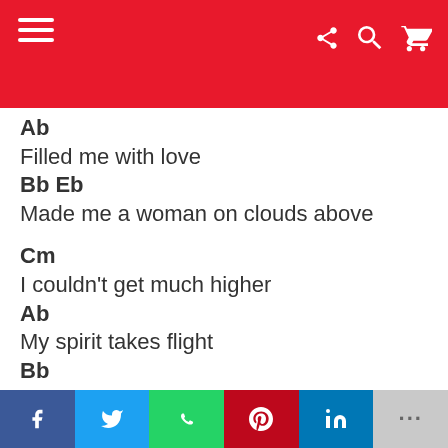Menu
Ab
Filled me with love
Bb Eb
Made me a woman on clouds above
Cm
I couldn't get much higher
Ab
My spirit takes flight
Bb
'Cause I'm alive
Eb
f  twitter  whatsapp  pinterest  in  ...